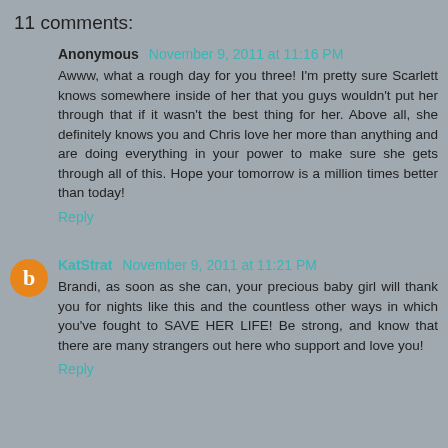11 comments:
Anonymous November 9, 2011 at 11:16 PM
Awww, what a rough day for you three! I'm pretty sure Scarlett knows somewhere inside of her that you guys wouldn't put her through that if it wasn't the best thing for her. Above all, she definitely knows you and Chris love her more than anything and are doing everything in your power to make sure she gets through all of this. Hope your tomorrow is a million times better than today!
Reply
KatStrat November 9, 2011 at 11:21 PM
Brandi, as soon as she can, your precious baby girl will thank you for nights like this and the countless other ways in which you've fought to SAVE HER LIFE! Be strong, and know that there are many strangers out here who support and love you!
Reply